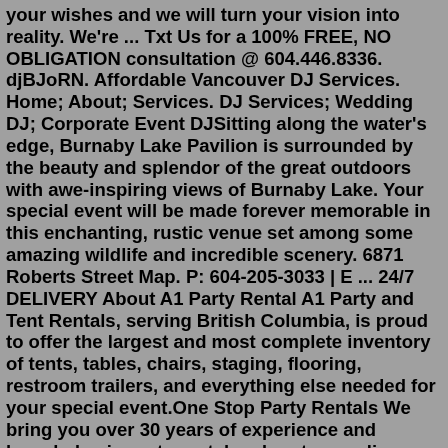your wishes and we will turn your vision into reality. We're ... Txt Us for a 100% FREE, NO OBLIGATION consultation @ 604.446.8336. djBJoRN. Affordable Vancouver DJ Services. Home; About; Services. DJ Services; Wedding DJ; Corporate Event DJSitting along the water's edge, Burnaby Lake Pavilion is surrounded by the beauty and splendor of the great outdoors with awe-inspiring views of Burnaby Lake. Your special event will be made forever memorable in this enchanting, rustic venue set among some amazing wildlife and incredible scenery. 6871 Roberts Street Map. P: 604-205-3033 | E ... 24/7 DELIVERY About A1 Party Rental A1 Party and Tent Rentals, serving British Columbia, is proud to offer the largest and most complete inventory of tents, tables, chairs, staging, flooring, restroom trailers, and everything else needed for your special event.One Stop Party Rentals We bring you over 30 years of experience and knowledge in party rental and party supplies planning in Burnaby. Allow us to use this knowledge to help make